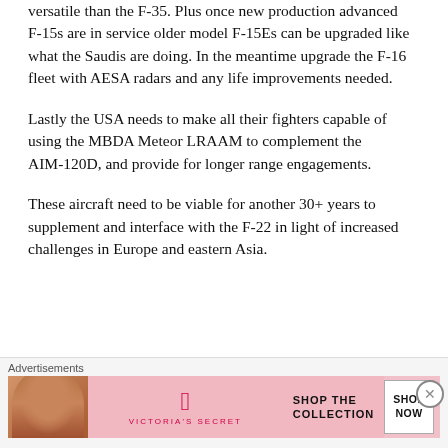versatile than the F-35. Plus once new production advanced F-15s are in service older model F-15Es can be upgraded like what the Saudis are doing. In the meantime upgrade the F-16 fleet with AESA radars and any life improvements needed.
Lastly the USA needs to make all their fighters capable of using the MBDA Meteor LRAAM to complement the AIM-120D, and provide for longer range engagements.
These aircraft need to be viable for another 30+ years to supplement and interface with the F-22 in light of increased challenges in Europe and eastern Asia.
Advertisements
[Figure (other): Victoria's Secret advertisement banner with model photo, VS logo, 'SHOP THE COLLECTION' text, and 'SHOP NOW' button]